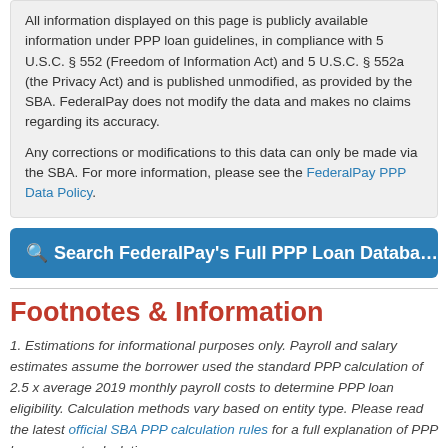All information displayed on this page is publicly available information under PPP loan guidelines, in compliance with 5 U.S.C. § 552 (Freedom of Information Act) and 5 U.S.C. § 552a (the Privacy Act) and is published unmodified, as provided by the SBA. FederalPay does not modify the data and makes no claims regarding its accuracy.

Any corrections or modifications to this data can only be made via the SBA. For more information, please see the FederalPay PPP Data Policy.
Search FederalPay's Full PPP Loan Database
Footnotes & Information
1. Estimations for informational purposes only. Payroll and salary estimates assume the borrower used the standard PPP calculation of 2.5 x average 2019 monthly payroll costs to determine PPP loan eligibility. Calculation methods vary based on entity type. Please read the latest official SBA PPP calculation rules for a full explanation of PPP loan amount calculation methods.